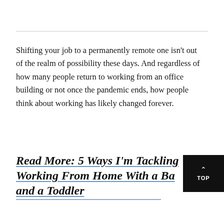Shifting your job to a permanently remote one isn't out of the realm of possibility these days. And regardless of how many people return to working from an office building or not once the pandemic ends, how people think about working has likely changed forever.
Read More: 5 Ways I'm Tackling Working From Home With a Baby and a Toddler